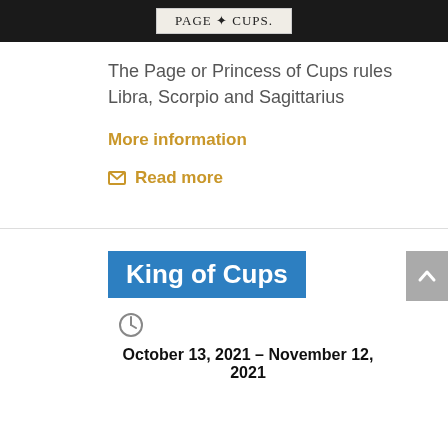[Figure (other): Tarot card label banner reading PAGE of CUPS on aged parchment background]
The Page or Princess of Cups rules Libra, Scorpio and Sagittarius
More information
Read more
King of Cups
October 13, 2021 – November 12, 2021